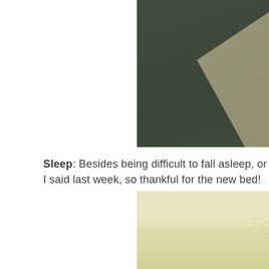[Figure (photo): Close-up photo of a person wearing a dark green/teal jacket with white fleece lining, showing the chest and collar area. Photo has a vintage sepia-toned filter.]
Sleep: Besides being difficult to fall asleep, or I said last week, so thankful for the new bed!
[Figure (photo): Misty forest scene with pine/fir trees in fog. The image has a pale yellow-green vintage toned filter giving it a dreamy, washed-out appearance.]